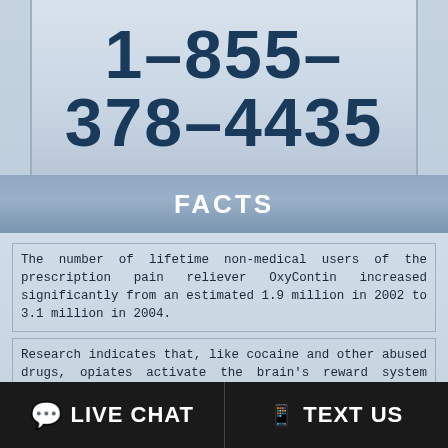1-855-378-4435
FACTS
The number of lifetime non-medical users of the prescription pain reliever OxyContin increased significantly from an estimated 1.9 million in 2002 to 3.1 million in 2004.
Research indicates that, like cocaine and other abused drugs, opiates activate the brain's reward system causing pain relief, a sense of euphoria and pleasure.
Studies have shown that the majority of Americans who misuse prescription psychotherapeutic drugs also engage in other illicit drug use as well.
LIVE CHAT  |  TEXT US